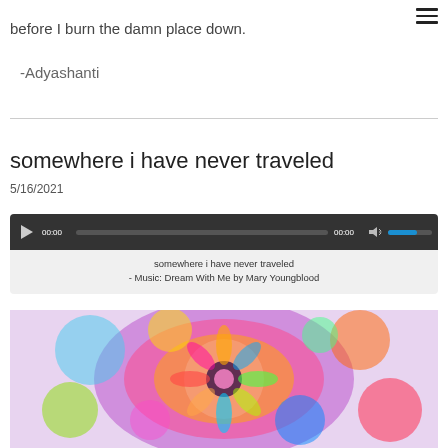before I burn the damn place down.
-Adyashanti
somewhere i have never traveled
5/16/2021
[Figure (other): Audio player widget showing play button, progress bar at 00:00, time display 00:00, mute button, and volume slider. Below the player: 'somewhere i have never traveled - Music: Dream With Me by Mary Youngblood']
[Figure (photo): Colorful mandala or abstract art image with vibrant multicolored patterns visible at the bottom of the page]